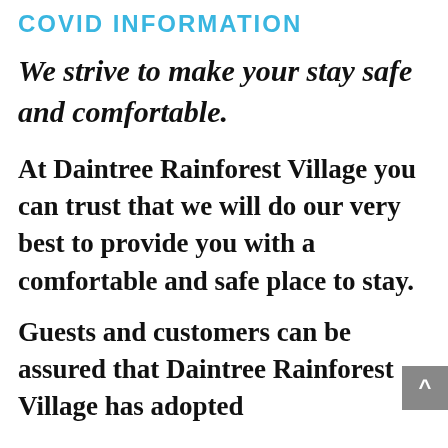COVID INFORMATION
We strive to make your stay safe and comfortable.
At Daintree Rainforest Village you can trust that we will do our very best to provide you with a comfortable and safe place to stay.
Guests and customers can be assured that Daintree Rainforest Village has adopted